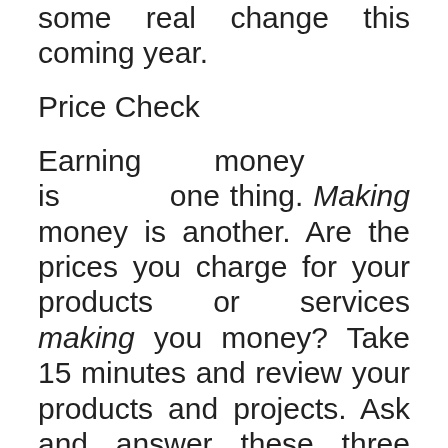some real change this coming year.
Price Check
Earning money is one thing. Making money is another. Are the prices you charge for your products or services making you money? Take 15 minutes and review your products and projects. Ask and answer these three questions for each one:
Did the time I spent on this project allow me to make money (and not just earn it)?
Was the money I made (if I made